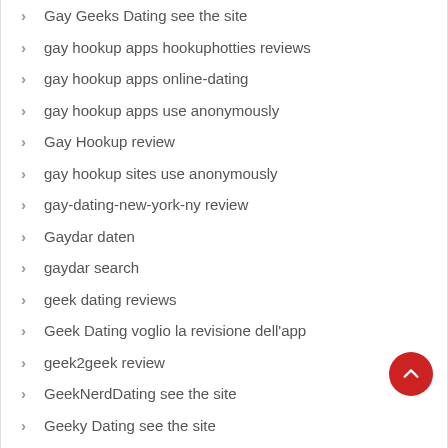Gay Geeks Dating see the site
gay hookup apps hookuphotties reviews
gay hookup apps online-dating
gay hookup apps use anonymously
Gay Hookup review
gay hookup sites use anonymously
gay-dating-new-york-ny review
Gaydar daten
gaydar search
geek dating reviews
Geek Dating voglio la revisione dell'app
geek2geek review
GeekNerdDating see the site
Geeky Dating see the site
gelegenheitssex visitors